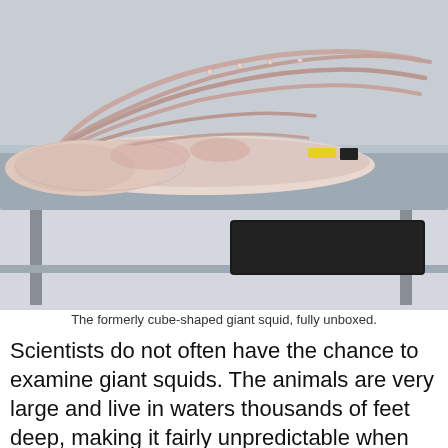[Figure (photo): A giant squid laid flat on a stainless steel laboratory table, fully unboxed, with long tentacles spread out. A black plastic tray is visible underneath the table. The squid is pale pink and white in color.]
The formerly cube-shaped giant squid, fully unboxed.
Scientists do not often have the chance to examine giant squids. The animals are very large and live in waters thousands of feet deep, making it fairly unpredictable when one might turn up. For a long time, scientists could only study Architeuthis from squids that were discovered dead on the shore, dead in the water, or were digested or regurgitated by sperm whales, according to a 2013 paper in the American Malacological